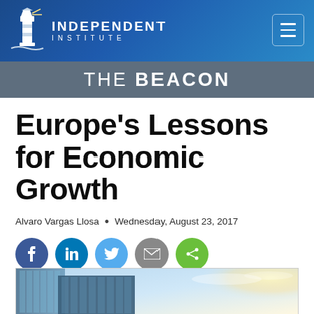[Figure (logo): Independent Institute logo with lighthouse icon and text INDEPENDENT INSTITUTE]
THE BEACON
Europe's Lessons for Economic Growth
Alvaro Vargas Llosa  •  Wednesday, August 23, 2017
[Figure (infographic): Social media share buttons: Facebook, LinkedIn, Twitter, Email, Share]
[Figure (photo): Looking up at glass skyscraper buildings with bright sky in background]